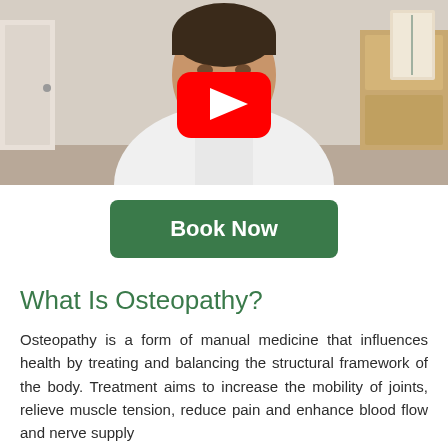[Figure (screenshot): Video thumbnail showing a man in a white shirt in a clinic/office setting with a YouTube play button overlay in the center]
Book Now
What Is Osteopathy?
Osteopathy is a form of manual medicine that influences health by treating and balancing the structural framework of the body. Treatment aims to increase the mobility of joints, relieve muscle tension, reduce pain and enhance blood flow and nerve supply